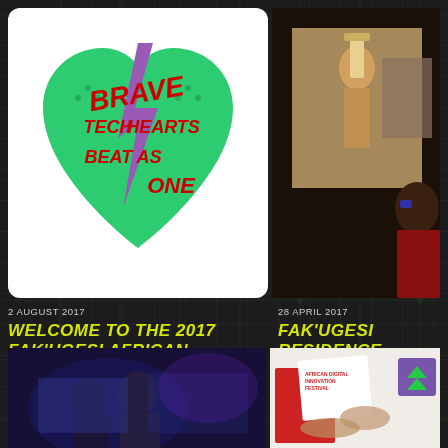[Figure (logo): Brave Tech Hearts Beat As One logo - heart shape in green with purple lightning bolt and red bold text]
[Figure (photo): Person looking at projected screen showing woman with headdress in dark room]
2 AUGUST 2017
WELCOME TO THE 2017 FAK'UGESI AFRICAN DIGITAL INNOVATION FESTIVAL
28 APRIL 2017
FAK'UGESI RESIDENCE PROJECT PRESENTED AT MUSEUMS AND THE WEB, USA
[Figure (photo): Two people working at computers in blue-lit room]
[Figure (photo): African Digital Innovation Festival branding and hands with objects on white surface, with small green upward arrow logo]